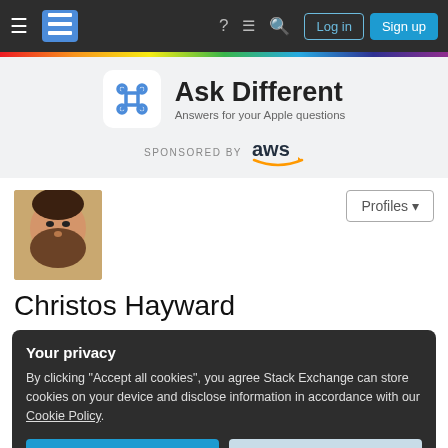Stack Exchange navigation bar with hamburger menu, logo, icons, Log in and Sign up buttons
[Figure (screenshot): Ask Different site header with command-key logo, site name 'Ask Different', tagline 'Answers for your Apple questions', and AWS sponsor logo]
[Figure (photo): Profile photo of Christos Hayward - bearded man]
Christos Hayward
Your privacy
By clicking "Accept all cookies", you agree Stack Exchange can store cookies on your device and disclose information in accordance with our Cookie Policy.
Accept all cookies   Customize settings
View all activity pages